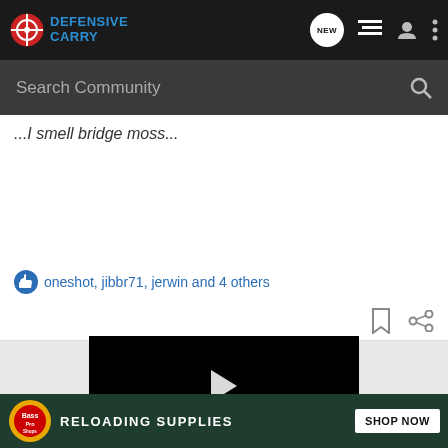Defensive Carry — nav bar with logo, NEW posts, list view, user, menu icons
Search Community
...I smell bridge moss...
oneshot, jibbr71, jerwin and 4 others
[Figure (screenshot): Video player with black background and white play button triangle]
[Figure (infographic): Bass Pro Shops ad banner: RELOADING SUPPLIES with SHOP NOW button on dark green background]